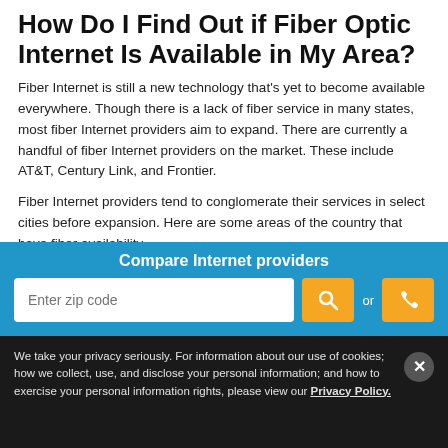How Do I Find Out if Fiber Optic Internet Is Available in My Area?
Fiber Internet is still a new technology that's yet to become available everywhere. Though there is a lack of fiber service in many states, most fiber Internet providers aim to expand. There are currently a handful of fiber Internet providers on the market. These include AT&T, Century Link, and Frontier.
Fiber Internet providers tend to conglomerate their services in select cities before expansion. Here are some areas of the country that have fiber availability.
Fiber Availability by Provider
Compare Internet providers
Enter zip code
We take your privacy seriously. For information about our use of cookies; how we collect, use, and disclose your personal information; and how to exercise your personal information rights, please view our Privacy Policy.